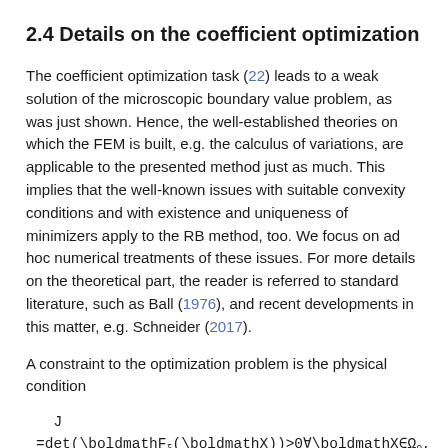2.4 Details on the coefficient optimization
The coefficient optimization task (22) leads to a weak solution of the microscopic boundary value problem, as was just shown. Hence, the well-established theories on which the FEM is built, e.g. the calculus of variations, are applicable to the presented method just as much. This implies that the well-known issues with suitable convexity conditions and with existence and uniqueness of minimizers apply to the RB method, too. We focus on ad hoc numerical treatments of these issues. For more details on the theoretical part, the reader is referred to standard literature, such as Ball (1976), and recent developments in this matter, e.g. Schneider (2017).
A constraint to the optimization problem is the physical condition
which means that no singular (J=0) or self-penetrating